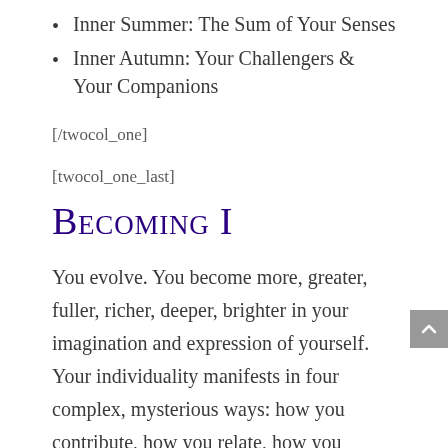Inner Summer: The Sum of Your Senses
Inner Autumn: Your Challengers & Your Companions
[/twocol_one]
[twocol_one_last]
Becoming I
You evolve. You become more, greater, fuller, richer, deeper, brighter in your imagination and expression of yourself. Your individuality manifests in four complex, mysterious ways: how you contribute, how you relate, how you